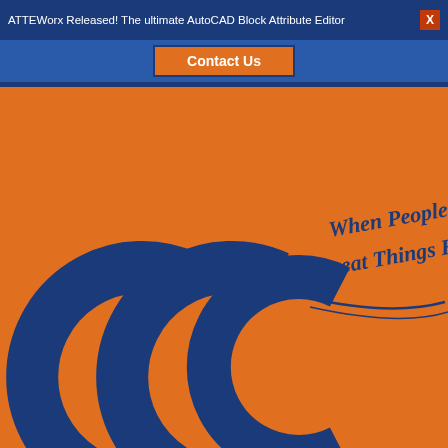ATTEWorx Released! The ultimate AutoCAD Block Attribute Editor
Contact Us
[Figure (logo): ECE logo — three blue arc/bracket symbols on orange background with tagline 'When People Talk, Great Things Happen' in handwritten style]
SECURITY
≡
≡  Main Menu
[Figure (illustration): Orange HELP DESK button widget with speech bubble icon in bottom left corner]